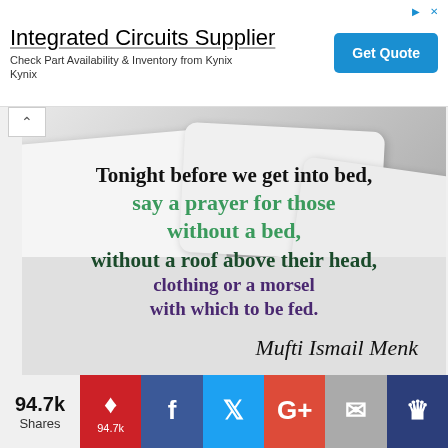[Figure (other): Advertisement banner: 'Integrated Circuits Supplier — Check Part Availability & Inventory from Kynix Kynix' with a blue 'Get Quote' button]
[Figure (photo): Photo of white bed pillows/sheets with overlaid inspirational quote by Mufti Ismail Menk: 'Tonight before we get into bed, say a prayer for those without a bed, without a roof above their head, clothing or a morsel with which to be fed.' with cursive signature 'Mufti Ismail Menk']
94.7k Shares — Pinterest 94.7k, Facebook, Twitter, G+, Email, Crown social sharing buttons